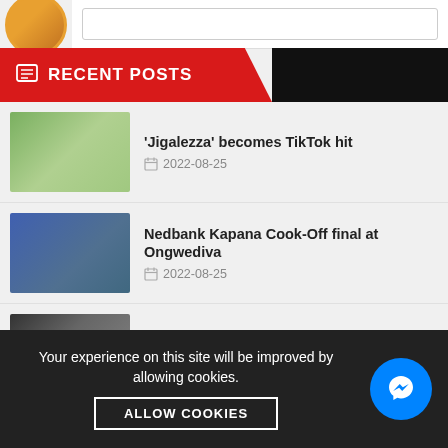RECENT POSTS
'Jigalezza' becomes TikTok hit | 2022-08-25
Nedbank Kapana Cook-Off final at Ongwediva | 2022-08-25
Industry Loop - Collective Singers | 2022-08-25
A Day in the life of Paula - Money is not everything | 2022-08-25
We will never see it coming | 2022-08-25
Your experience on this site will be improved by allowing cookies.
ALLOW COOKIES